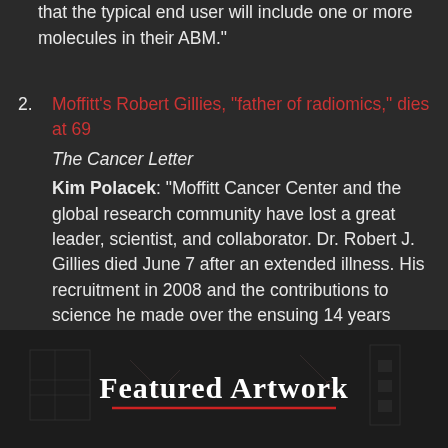that the typical end user will include one or more molecules in their ABM."
2. Moffitt's Robert Gillies, "father of radiomics," dies at 69
The Cancer Letter
Kim Polacek: "Moffitt Cancer Center and the global research community have lost a great leader, scientist, and collaborator. Dr. Robert J. Gillies died June 7 after an extended illness. His recruitment in 2008 and the contributions to science he made over the ensuing 14 years elevated Moffitt's scientific stature. He was 69."
[Figure (illustration): Featured Artwork banner with dark background showing scientific/molecular imagery and the text 'Featured Artwork' in large serif font with a red underline]